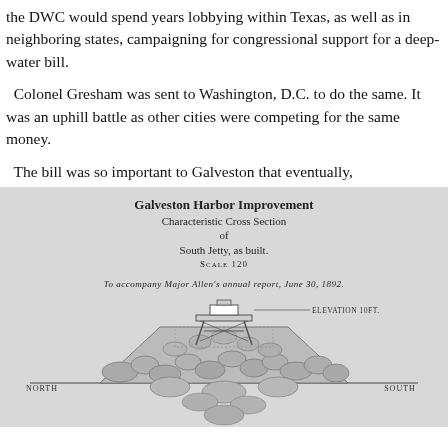the DWC would spend years lobbying within Texas, as well as in neighboring states, campaigning for congressional support for a deep-water bill.
Colonel Gresham was sent to Washington, D.C. to do the same. It was an uphill battle as other cities were competing for the same money.
The bill was so important to Galveston that eventually,
[Figure (engineering-diagram): Galveston Harbor Improvement — Characteristic Cross Section of South Jetty, as built. Scale 120. To accompany Major Allen's annual report, June 30, 1892. Shows a cross-section diagram of a jetty with rocks, a lighthouse structure at top labeled ELEVATION 10FT., and directional labels NORTH, M.L.T., and SOUTH.]